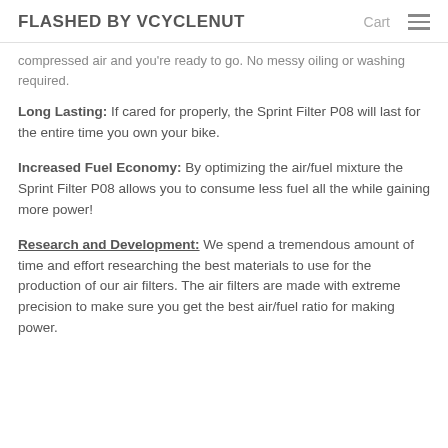FLASHED BY VCYCLENUT   Cart
compressed air and you're ready to go. No messy oiling or washing required.
Long Lasting: If cared for properly, the Sprint Filter P08 will last for the entire time you own your bike.
Increased Fuel Economy: By optimizing the air/fuel mixture the Sprint Filter P08 allows you to consume less fuel all the while gaining more power!
Research and Development: We spend a tremendous amount of time and effort researching the best materials to use for the production of our air filters. The air filters are made with extreme precision to make sure you get the best air/fuel ratio for making power.